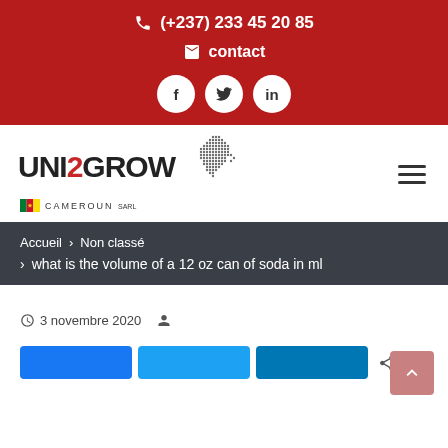(+237) 233 45 20 85
contact
[Figure (logo): UNI2GROW CAMEROUN SARL logo with dotted Africa map silhouette]
Accueil > Non classé > what is the volume of a 12 oz can of soda in ml
3 novembre 2020